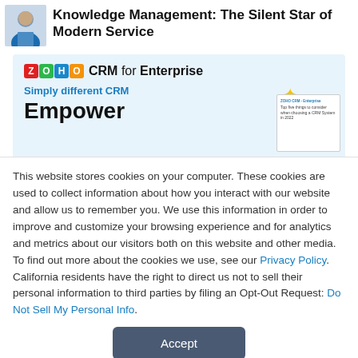Knowledge Management: The Silent Star of Modern Service
[Figure (screenshot): Zoho CRM for Enterprise advertisement banner with light blue background showing Zoho logo, 'Simply different CRM' tagline, 'Empower' heading, gold star and diamond decorations, and a product brochure image on the right]
This website stores cookies on your computer. These cookies are used to collect information about how you interact with our website and allow us to remember you. We use this information in order to improve and customize your browsing experience and for analytics and metrics about our visitors both on this website and other media. To find out more about the cookies we use, see our Privacy Policy. California residents have the right to direct us not to sell their personal information to third parties by filing an Opt-Out Request: Do Not Sell My Personal Info.